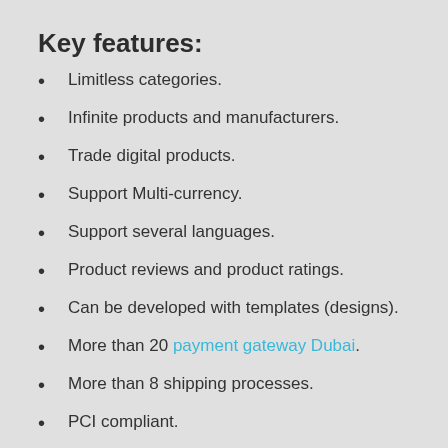Key features:
Limitless categories.
Infinite products and manufacturers.
Trade digital products.
Support Multi-currency.
Support several languages.
Product reviews and product ratings.
Can be developed with templates (designs).
More than 20 payment gateway Dubai.
More than 8 shipping processes.
PCI compliant.
Multiple tax rates.